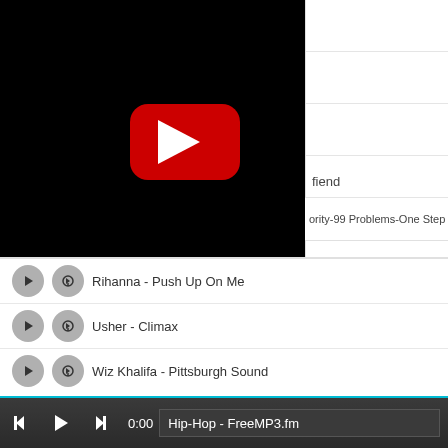[Figure (screenshot): YouTube video player showing black screen with red YouTube play button logo in center]
fiend
ority-99 Problems-One Step
Rihanna - Push Up On Me
Usher - Climax
Wiz Khalifa - Pittsburgh Sound
0:00   Hip-Hop - FreeMP3.fm